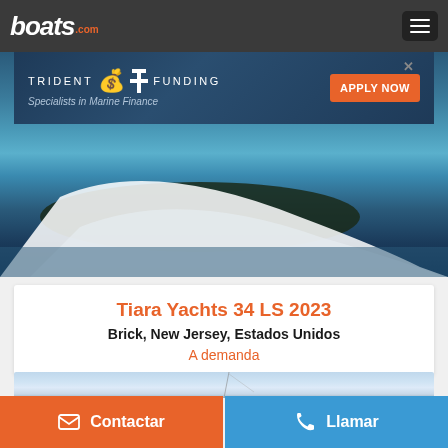boats.com
[Figure (photo): Trident Funding advertisement banner showing a motorboat on water with text 'TRIDENT F FUNDING — Specialists in Marine Finance' and orange 'APPLY NOW' button]
[Figure (photo): Boat on water - hero image for Tiara Yachts 34 LS 2023 listing]
Tiara Yachts 34 LS 2023
Brick, New Jersey, Estados Unidos
A demanda
[Figure (photo): Second boat listing photo showing sailboat or vessel against sky background]
Contactar
Llamar